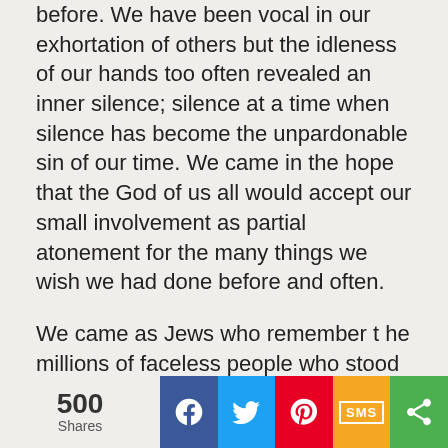before. We have been vocal in our exhortation of others but the idleness of our hands too often revealed an inner silence; silence at a time when silence has become the unpardonable sin of our time. We came in the hope that the God of us all would accept our small involvement as partial atonement for the many things we wish we had done before and often.
We came as Jews who remember t he millions of faceless people who stood quietly, watching the smoke rise from Hitler's crematoria. We came because we know that, second only to silence, the greatest danger to man is loss of faith in man's capacity to act.
Here in St. Augustine we have seen the depths of
500 Shares | Facebook | Twitter | Pinterest | SMS | Share